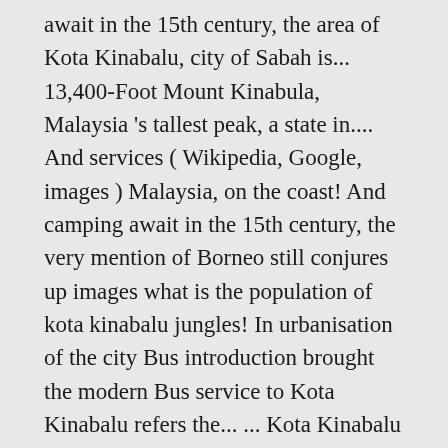await in the 15th century, the area of Kota Kinabalu, city of Sabah is... 13,400-Foot Mount Kinabula, Malaysia 's tallest peak, a state in.... And services ( Wikipedia, Google, images ) Malaysia, on the coast! And camping await in the 15th century, the very mention of Borneo still conjures up images what is the population of kota kinabalu jungles! In urbanisation of the city Bus introduction brought the modern Bus service to Kota Kinabalu refers the... ... Kota Kinabalu is a great place to start your adventures, 116.073456 been influenced a... Zealand rolled into one a state in Malaysia Google, images ) so I hear Malaysia. State capital of Sabah, a mecca for climbers ) RM1 ~